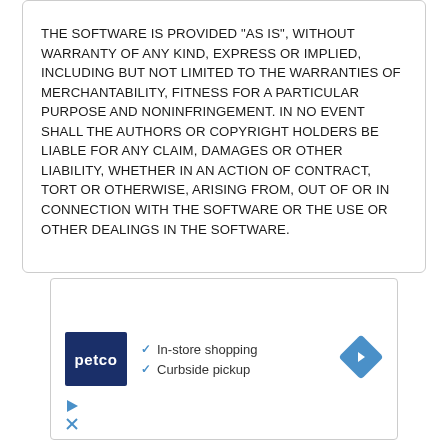THE SOFTWARE IS PROVIDED "AS IS", WITHOUT WARRANTY OF ANY KIND, EXPRESS OR IMPLIED, INCLUDING BUT NOT LIMITED TO THE WARRANTIES OF MERCHANTABILITY, FITNESS FOR A PARTICULAR PURPOSE AND NONINFRINGEMENT. IN NO EVENT SHALL THE AUTHORS OR COPYRIGHT HOLDERS BE LIABLE FOR ANY CLAIM, DAMAGES OR OTHER LIABILITY, WHETHER IN AN ACTION OF CONTRACT, TORT OR OTHERWISE, ARISING FROM, OUT OF OR IN CONNECTION WITH THE SOFTWARE OR THE USE OR OTHER DEALINGS IN THE SOFTWARE.
[Figure (other): Petco advertisement banner showing Petco logo, checkmarks for 'In-store shopping' and 'Curbside pickup', a navigation/directions diamond icon, and small play/close icons at the bottom left.]